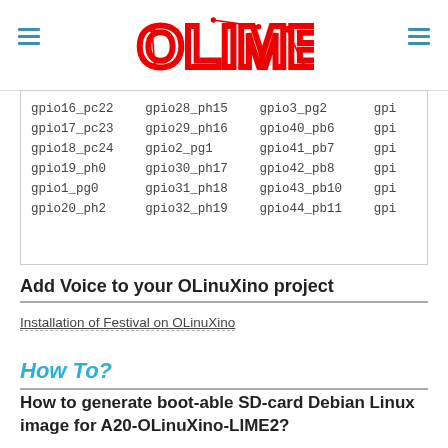[Figure (logo): OLIMEX logo in red with circuit-board style lettering, hamburger menu icons on left and right]
| gpio16_pc22 | gpio28_ph15 | gpio3_pg2 | gpi |
| gpio17_pc23 | gpio29_ph16 | gpio40_pb6 | gpi |
| gpio18_pc24 | gpio2_pg1 | gpio41_pb7 | gpi |
| gpio19_ph0 | gpio30_ph17 | gpio42_pb8 | gpi |
| gpio1_pg0 | gpio31_ph18 | gpio43_pb10 | gpi |
| gpio20_ph2 | gpio32_ph19 | gpio44_pb11 | gpi |
Add Voice to your OLinuXino project
Installation of Festival on OLinuXino
How To?
How to generate boot-able SD-card Debian Linux image for A20-OLinuXino-LIME2?